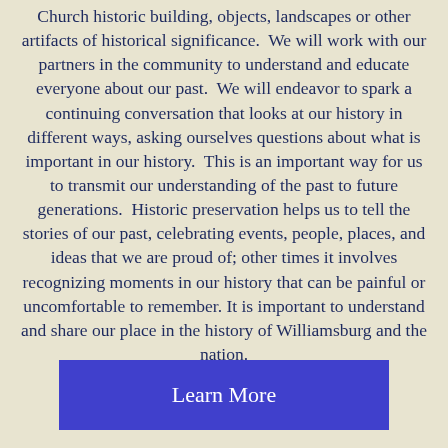Church historic building, objects, landscapes or other artifacts of historical significance.  We will work with our partners in the community to understand and educate everyone about our past.  We will endeavor to spark a continuing conversation that looks at our history in different ways, asking ourselves questions about what is important in our history.  This is an important way for us to transmit our understanding of the past to future generations.  Historic preservation helps us to tell the stories of our past, celebrating events, people, places, and ideas that we are proud of; other times it involves recognizing moments in our history that can be painful or uncomfortable to remember. It is important to understand and share our place in the history of Williamsburg and the nation.
Learn More